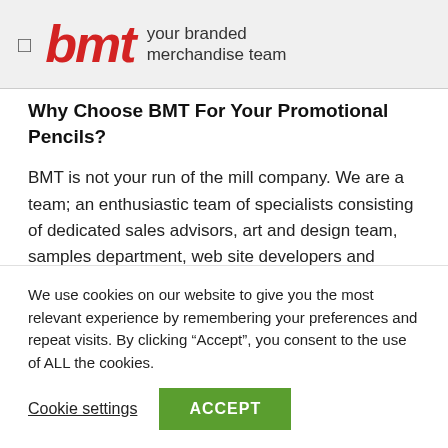bmt your branded merchandise team
Why Choose BMT For Your Promotional Pencils?
BMT is not your run of the mill company. We are a team; an enthusiastic team of specialists consisting of dedicated sales advisors, art and design team, samples department, web site developers and
We use cookies on our website to give you the most relevant experience by remembering your preferences and repeat visits. By clicking “Accept”, you consent to the use of ALL the cookies.
Cookie settings   ACCEPT